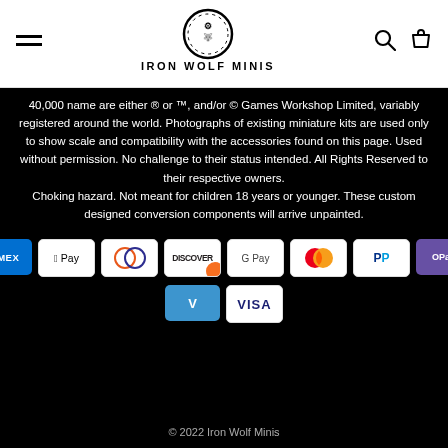IRON WOLF MINIS
40,000 name are either ® or ™, and/or © Games Workshop Limited, variably registered around the world. Photographs of existing miniature kits are used only to show scale and compatibility with the accessories found on this page. Used without permission. No challenge to their status intended. All Rights Reserved to their respective owners. Choking hazard. Not meant for children 18 years or younger. These custom designed conversion components will arrive unpainted.
[Figure (logo): Payment method icons: American Express, Apple Pay, Diners Club, Discover, Google Pay, Mastercard, PayPal, OPay, Venmo, Visa]
© 2022 Iron Wolf Minis